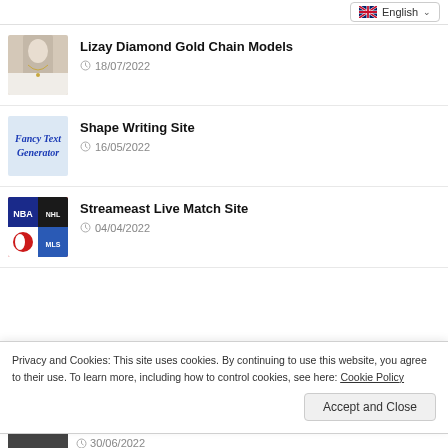[Figure (screenshot): English language selector dropdown button with UK flag]
Lizay Diamond Gold Chain Models
18/07/2022
Shape Writing Site
16/05/2022
Streameast Live Match Site
04/04/2022
Privacy and Cookies: This site uses cookies. By continuing to use this website, you agree to their use. To learn more, including how to control cookies, see here: Cookie Policy
Accept and Close
30/06/2022